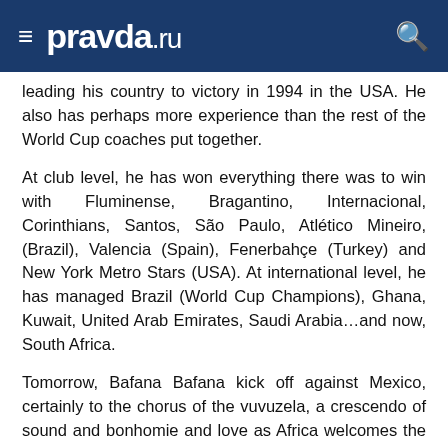pravda.ru
leading his country to victory in 1994 in the USA. He also has perhaps more experience than the rest of the World Cup coaches put together.
At club level, he has won everything there was to win with Fluminense, Bragantino, Internacional, Corinthians, Santos, São Paulo, Atlético Mineiro, (Brazil), Valencia (Spain), Fenerbahçe (Turkey) and New York Metro Stars (USA). At international level, he has managed Brazil (World Cup Champions), Ghana, Kuwait, United Arab Emirates, Saudi Arabia…and now, South Africa.
Tomorrow, Bafana Bafana kick off against Mexico, certainly to the chorus of the vuvuzela, a crescendo of sound and bonhomie and love as Africa welcomes the world. For Carlos Alberto Parreira